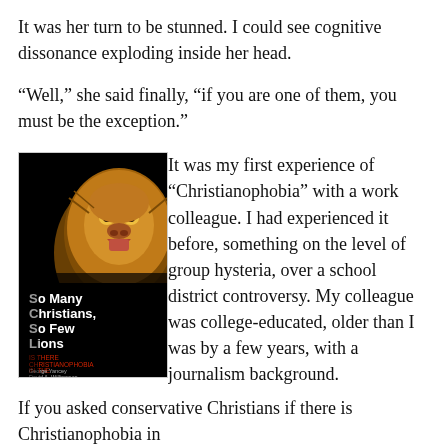It was her turn to be stunned. I could see cognitive dissonance exploding inside her head.
“Well,” she said finally, “if you are one of them, you must be the exception.”
[Figure (photo): Book cover of 'So Many Christians, So Few Lions' with subtitle 'Is There Christianophobia in the United States?' featuring a close-up of a lion's face. Authors: George Yancey, David A. Williamson.]
It was my first experience of “Christianophobia” with a work colleague. I had experienced it before, something on the level of group hysteria, over a school district controversy. My colleague was college-educated, older than I was by a few years, with a journalism background.
If you asked conservative Christians if there is Christianophobia in